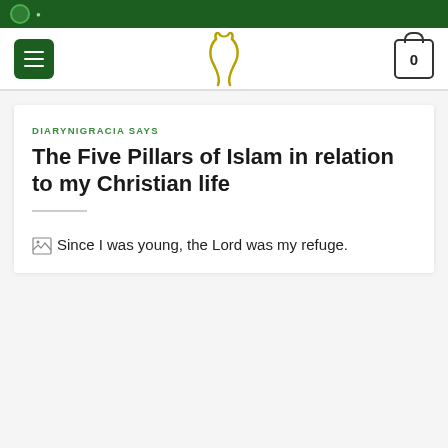DIARYNIGRACIA SAYS
The Five Pillars of Islam in relation to my Christian life
[Figure (photo): Broken image placeholder with alt text: Since I was young, the Lord was my refuge.]